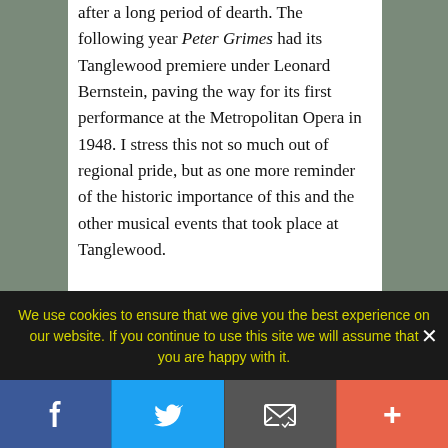after a long period of dearth. The following year Peter Grimes had its Tanglewood premiere under Leonard Bernstein, paving the way for its first performance at the Metropolitan Opera in 1948. I stress this not so much out of regional pride, but as one more reminder of the historic importance of this and the other musical events that took place at Tanglewood.
Seeing Peter Grimes again, this time in John Doyle's new Metropolitan Opera production with sets designed by Scott Pask, I was more than ever aware of the presence of Wozzeck's ghost. Grimes' perceptions of unmaterial phenomena, his idées fixes, and the way the cards have been stacked
We use cookies to ensure that we give you the best experience on our website. If you continue to use this site we will assume that you are happy with it.